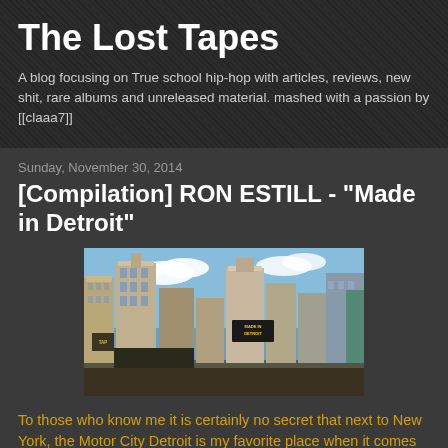The Lost Tapes
A blog focusing on True school hip-hop with articles, reviews, new shit, rare albums and unreleased material. mashed with a passion by [[claaa7]]
Sunday, November 30, 2014
[Compilation] RON ESTILL - "Made in Detroit"
[Figure (photo): Panoramic photo of Detroit city skyline with tall buildings under a blue sky, with a sign reading 'Made in Detroit' visible on one of the buildings.]
To those who know me it is certainly no secret that next to New York, the Motor City Detroit is my favorite place when it comes to knocking out slamming music. Of course J Dita